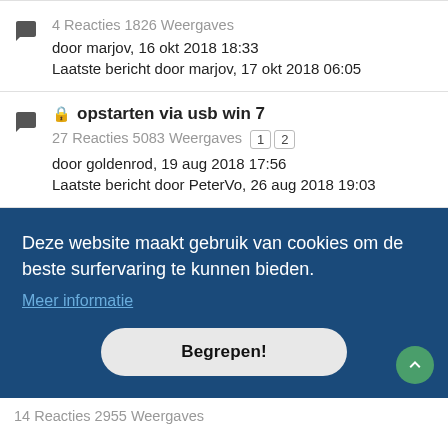4 Reacties 1826 Weergaves
door marjov, 16 okt 2018 18:33
Laatste bericht door marjov, 17 okt 2018 06:05
opstarten via usb win 7
27 Reacties 5083 Weergaves 1 2
door goldenrod, 19 aug 2018 17:56
Laatste bericht door PeterVo, 26 aug 2018 19:03
Deze website maakt gebruik van cookies om de beste surfervaring te kunnen bieden.
Meer informatie
Begrepen!
14 Reacties 2955 Weergaves